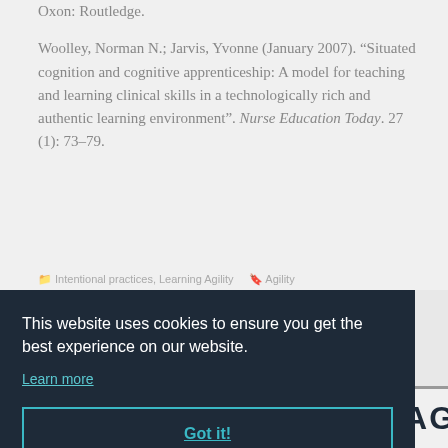Oxon: Routledge.
Woolley, Norman N.; Jarvis, Yvonne (January 2007). “Situated cognition and cognitive apprenticeship: A model for teaching and learning clinical skills in a technologically rich and authentic learning environment”. Nurse Education Today. 27 (1): 73–79.
Intentional practices, Learning Agility   Agility
This website uses cookies to ensure you get the best experience on our website.
Learn more
Got it!
KEEPING YOUR TEAM AGILE